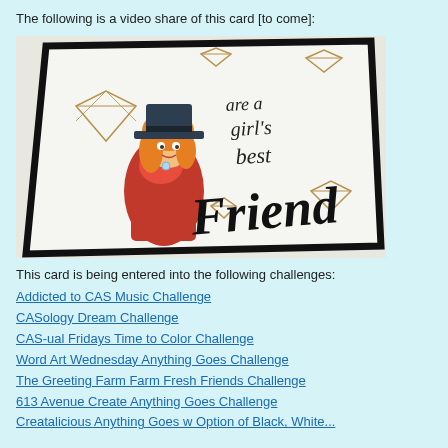The following is a video share of this card [to come]:
[Figure (photo): A handmade greeting card angled on a light surface, featuring a cartoon girl with red dress and orange hair wearing a top hat, surrounded by geometric diamond shapes in gold/tan. Text on the card reads 'are a girl's best Friend' in script lettering.]
This card is being entered into the following challenges:
Addicted to CAS Music Challenge
CASology Dream Challenge
CAS-ual Fridays Time to Color Challenge
Word Art Wednesday Anything Goes Challenge
The Greeting Farm Farm Fresh Friends Challenge
613 Avenue Create Anything Goes Challenge
Creatalicious Anything Goes w Option of Black, White...